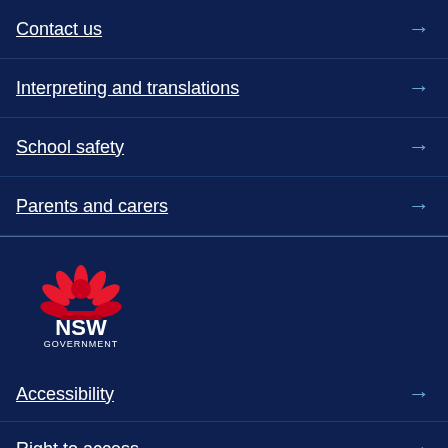Contact us
Interpreting and translations
School safety
Parents and carers
[Figure (logo): NSW Government logo with red waratah flower above 'NSW GOVERNMENT' text in white]
Accessibility
Right to access
Privacy